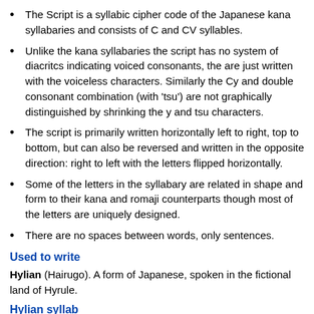The Script is a syllabic cipher code of the Japanese kana syllabaries and consists of C and CV syllables.
Unlike the kana syllabaries the script has no system of diacritcs indicating voiced consonants, the are just written with the voiceless characters. Similarly the Cy and double consonant combination (with 'tsu') are not graphically distinguished by shrinking the y and tsu characters.
The script is primarily written horizontally left to right, top to bottom, but can also be reversed and written in the opposite direction: right to left with the letters flipped horizontally.
Some of the letters in the syllabary are related in shape and form to their kana and romaji counterparts though most of the letters are uniquely designed.
There are no spaces between words, only sentences.
Used to write
Hylian (Hairugo). A form of Japanese, spoken in the fictional land of Hyrule.
Hylian syllabo...